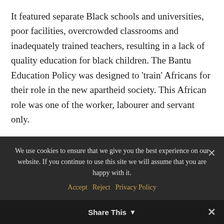It featured separate Black schools and universities, poor facilities, overcrowded classrooms and inadequately trained teachers, resulting in a lack of quality education for black children. The Bantu Education Policy was designed to 'train' Africans for their role in the new apartheid society. This African role was one of the worker, labourer and servant only.

In January of 1976, the government mandated that all school subjects be taught in Afrikaans. The Afrikaner-dominated government
We use cookies to ensure that we give you the best experience on our website. If you continue to use this site we will assume that you are happy with it.
Share This